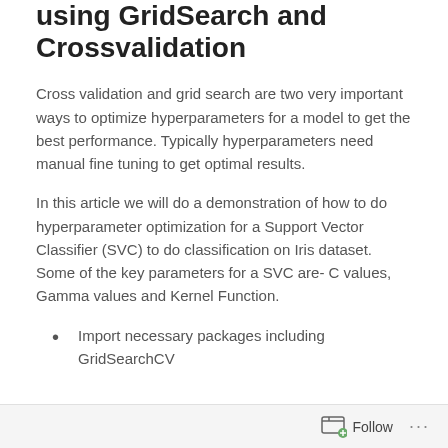using GridSearch and Crossvalidation
Cross validation and grid search are two very important ways to optimize hyperparameters for a model to get the best performance. Typically hyperparameters need manual fine tuning to get optimal results.
In this article we will do a demonstration of how to do hyperparameter optimization for a Support Vector Classifier (SVC) to do classification on Iris dataset. Some of the key parameters for a SVC are- C values, Gamma values and Kernel Function.
Import necessary packages including GridSearchCV